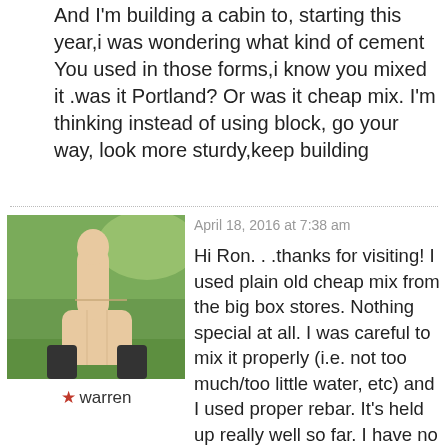And I'm building a cabin to, starting this year,i was wondering what kind of cement You used in those forms,i know you mixed it .was it Portland? Or was it cheap mix. I'm thinking instead of using block, go your way, look more sturdy,keep building
April 18, 2016 at 7:38 am
[Figure (photo): Avatar photo showing a hand giving a thumbs up gesture against a green grassy background]
warren
Hi Ron. . .thanks for visiting! I used plain old cheap mix from the big box stores. Nothing special at all. I was careful to mix it properly (i.e. not too much/too little water, etc) and I used proper rebar. It's held up really well so far. I have no expectation that it will see any issues. I spent a good bit of time understanding how big my forms had to be to support the estimated weight of the